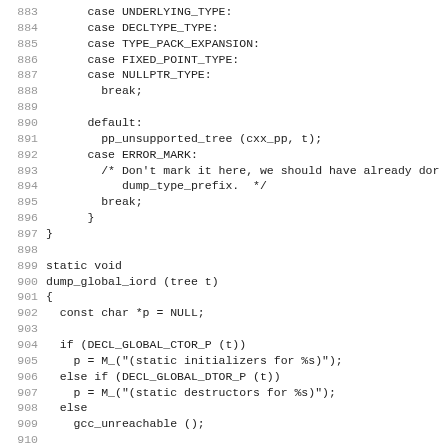Source code listing lines 883-914, C/C++ code showing switch-case statements and dump_global_iord function